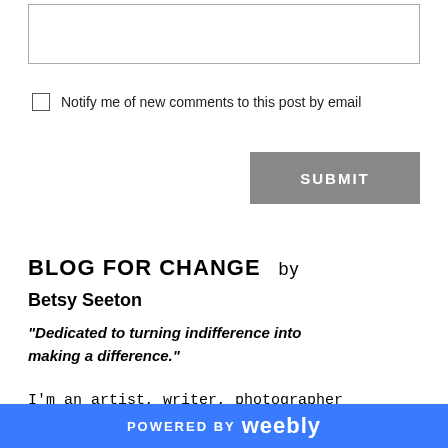[Figure (other): Text input box (comment field)]
Notify me of new comments to this post by email
SUBMIT
BLOG FOR CHANGE  by Betsy Seeton
"Dedicated to turning indifference into making a difference."
I'm an artist, writer, photographer and private investigator. And not
POWERED BY weebly